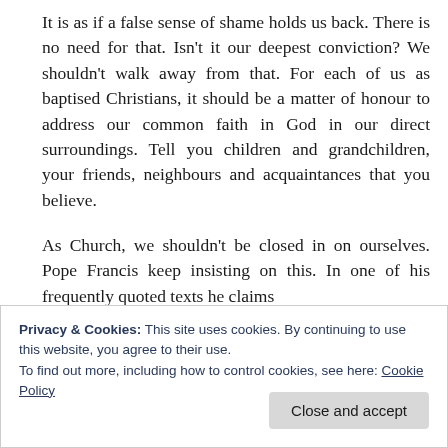It is as if a false sense of shame holds us back. There is no need for that. Isn't it our deepest conviction? We shouldn't walk away from that. For each of us as baptised Christians, it should be a matter of honour to address our common faith in God in our direct surroundings. Tell you children and grandchildren, your friends, neighbours and acquaintances that you believe.
As Church, we shouldn't be closed in on ourselves. Pope Francis keep insisting on this. In one of his frequently quoted texts he claims
Privacy & Cookies: This site uses cookies. By continuing to use this website, you agree to their use.
To find out more, including how to control cookies, see here: Cookie Policy
Close and accept
Those are clear words. The Pope invites us to go